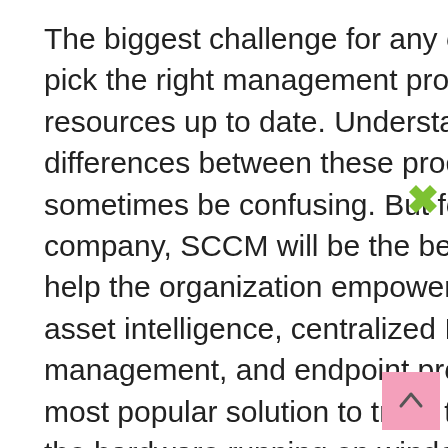The biggest challenge for any organization is to pick the right management product that will keep resources up to date. Understanding the differences between these products can sometimes be confusing. But for any large company, SCCM will be the better option. It will help the organization empower user productivity, asset intelligence, centralized IT infrastructure management, and endpoint protection. It is the most popular solution to track the deployment of the hardware running on windows, protect the network, update the software installed, etc. SCCM training will help you in understanding SCCM more clearly and using it efficiently. But there is another solution called WSUS that has the same capabilities as SCCM. Let us learn about these two solutions and understand
[Figure (other): Green X close button icon in upper right area]
[Figure (other): Pink scroll-to-top button with upward arrow in lower right corner]